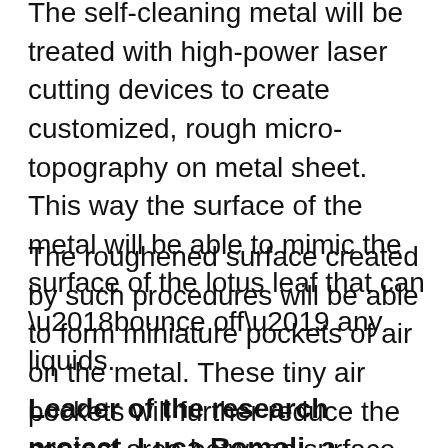The self-cleaning metal will be treated with high-power laser cutting devices to create customized, rough micro-topography on metal sheet. This way the surface of the metal will be able to mimic the surface of the lotus leaf that can ‘bounce off’ any liquids.
The roughened surface created by such procedures will be able to form miniature pockets of air on the metal. These tiny air pockets will further reduce the contact area between surface and liquid. So, instead of sticking to the surface the liquid will repel from the surface.
Leader of the research project, Luca Romoli, a professor at the University of Parma, said,